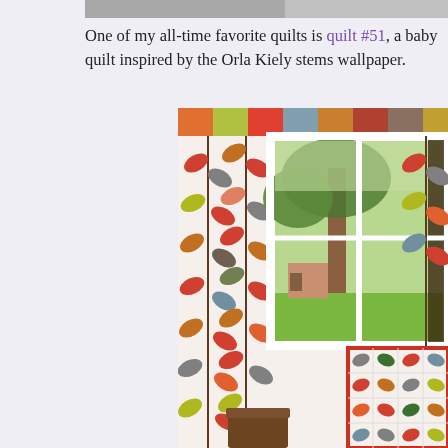[Figure (photo): Top strip of a partially visible image at the top of the page]
One of my all-time favorite quilts is quilt #51, a baby quilt inspired by the Orla Kiely stems wallpaper.
[Figure (photo): Photo of a room with Orla Kiely colorful multi-stem leaf pattern wallpaper covering the walls, a white window frame showing a view of trees and a suburban yard outside, and in the lower right corner a quilt with similar leaf patterns in green, red, orange, teal and brown on white background.]